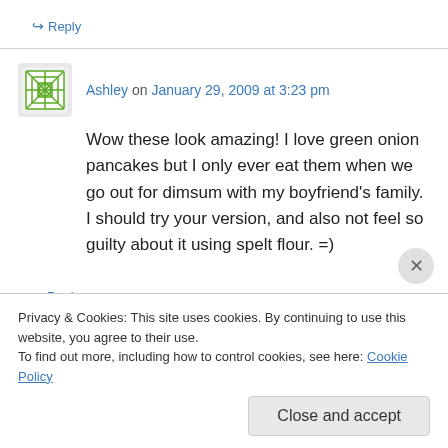↪ Reply
Ashley on January 29, 2009 at 3:23 pm
Wow these look amazing! I love green onion pancakes but I only ever eat them when we go out for dimsum with my boyfriend's family. I should try your version, and also not feel so guilty about it using spelt flour. =)
↪ Reply
Privacy & Cookies: This site uses cookies. By continuing to use this website, you agree to their use.
To find out more, including how to control cookies, see here: Cookie Policy
Close and accept